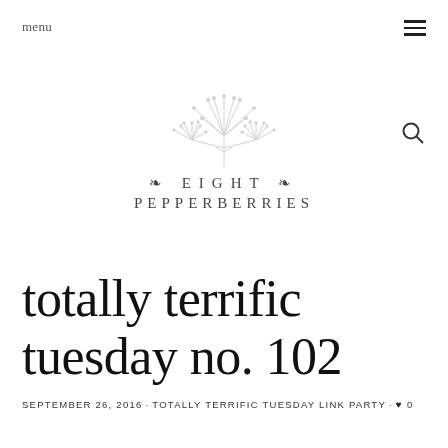menu
[Figure (logo): Eight Pepperberries blog logo with decorative palm/firework plant illustration above the text '❧ EIGHT ❧ PEPPERBERRIES']
totally terrific tuesday no. 102
SEPTEMBER 26, 2016 · TOTALLY TERRIFIC TUESDAY LINK PARTY · ♥ 0